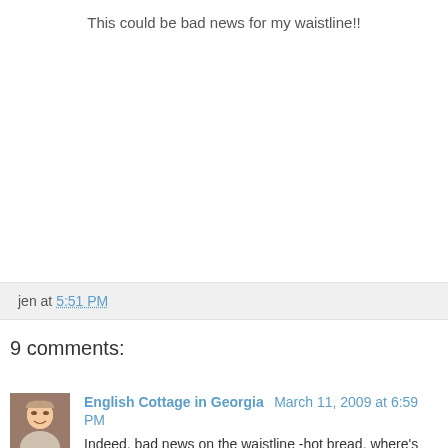This could be bad news for my waistline!!
jen at 5:51 PM
9 comments:
English Cottage in Georgia  March 11, 2009 at 6:59 PM
Indeed, bad news on the waistline -hot bread, where's the butter :-)